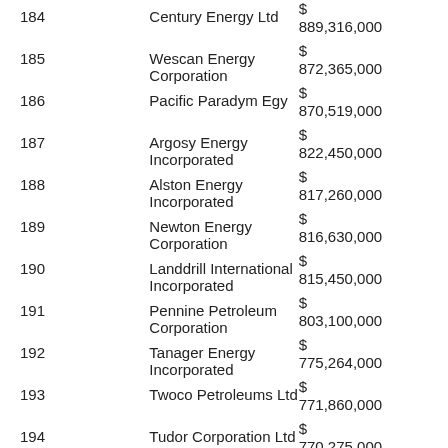| Rank | Company | Value |
| --- | --- | --- |
| 184 | Century Energy Ltd | $
889,316,000 |
| 185 | Wescan Energy Corporation | $
872,365,000 |
| 186 | Pacific Paradym Egy | $
870,519,000 |
| 187 | Argosy Energy Incorporated | $
822,450,000 |
| 188 | Alston Energy Incorporated | $
817,260,000 |
| 189 | Newton Energy Corporation | $
816,630,000 |
| 190 | Landdrill International Incorporated | $
815,450,000 |
| 191 | Pennine Petroleum Corporation | $
803,100,000 |
| 192 | Tanager Energy Incorporated | $
775,264,000 |
| 193 | Twoco Petroleums Ltd | $
771,860,000 |
| 194 | Tudor Corporation Ltd | $
770,275,000 |